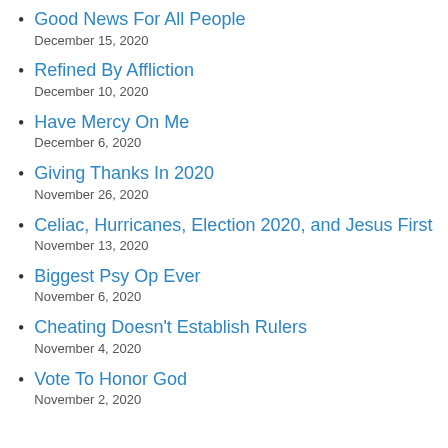Good News For All People
December 15, 2020
Refined By Affliction
December 10, 2020
Have Mercy On Me
December 6, 2020
Giving Thanks In 2020
November 26, 2020
Celiac, Hurricanes, Election 2020, and Jesus First
November 13, 2020
Biggest Psy Op Ever
November 6, 2020
Cheating Doesn't Establish Rulers
November 4, 2020
Vote To Honor God
November 2, 2020